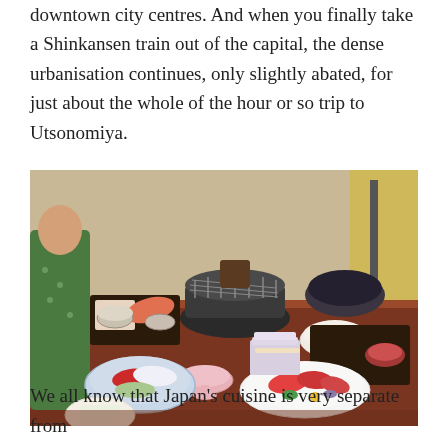downtown city centres. And when you finally take a Shinkansen train out of the capital, the dense urbanisation continues, only slightly abated, for just about the whole of the hour or so trip to Utsonomiya.
[Figure (photo): A Japanese dining table spread with multiple dishes including sashimi, small plates, and a central charcoal grill (shichirin). Various traditional Japanese ceramics and bowls are visible, along with a person wearing a green kimono on the left.]
We all know that Japan's cuisine is very separate from